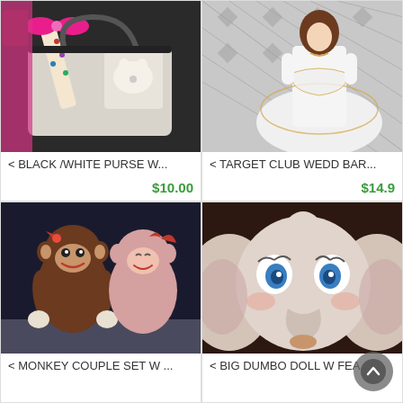[Figure (photo): Black and white purse with cat image, colorful bow, and polka-dot ribbon]
< BLACK /WHITE PURSE W...
$10.00
[Figure (photo): Barbie doll in white wedding dress with gold embroidery]
< TARGET CLUB WEDD BAR...
$14.9
[Figure (photo): Two monkey stuffed animals / plush toys with red bow accents]
< MONKEY COUPLE SET W ...
[Figure (photo): Large Dumbo elephant plush stuffed animal toy close-up]
< BIG DUMBO DOLL W FEA...